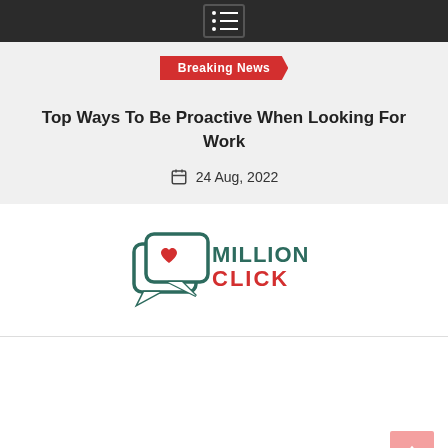Menu navigation icon
Breaking News
Top Ways To Be Proactive When Looking For Work
24 Aug, 2022
[Figure (logo): Million Click logo with speech bubble and heart icon]
[Figure (other): Scroll to top button (pink/red arrow up)]